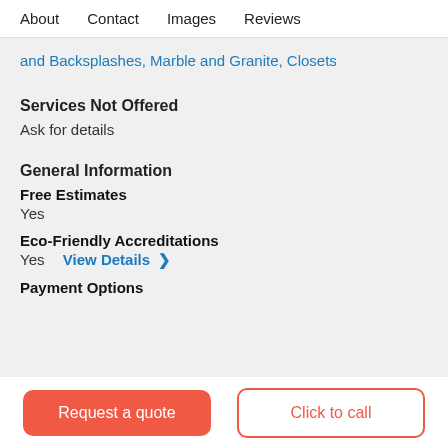About   Contact   Images   Reviews
and Backsplashes, Marble and Granite, Closets
Services Not Offered
Ask for details
General Information
Free Estimates
Yes
Eco-Friendly Accreditations
Yes   View Details >
Payment Options
Request a quote
Click to call